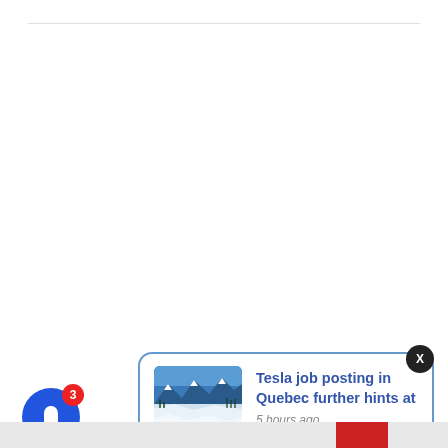[Figure (screenshot): Web browser notification popup showing a Tesla news article notification. The popup has a blue border, a thumbnail image of a snowy mountain landscape, headline text 'Tesla job posting in Quebec further hints at' in blue, and timestamp '5 hours ago' in gray. A close button (X) appears in the top right corner. In the bottom left, a blue circular bell icon with a red badge showing '3' notifications is visible.]